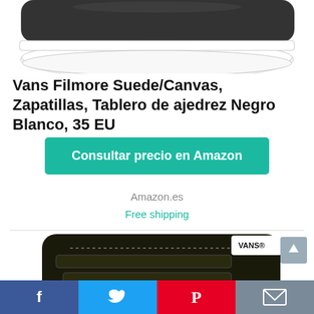[Figure (photo): Top portion of a white-soled Vans sneaker, cropped, showing the white rubber sole and lower canvas body against a white background.]
Vans Filmore Suede/Canvas, Zapatillas, Tablero de ajedrez Negro Blanco, 35 EU
Consultar precio en Amazon
Amazon.es
Free shipping
[Figure (photo): Black Vans high-top sneaker with velcro straps and white stitching detail and white VANS logo tab, shown from the side on a white background — cropped at bottom of page.]
[Figure (infographic): Social share bar at the bottom with four buttons: Facebook (blue), Twitter (light blue), Pinterest (red), and Email (grey).]